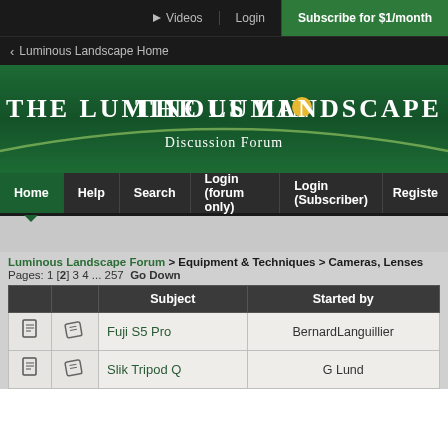Videos  Login  Subscribe for $1/month
< Luminous Landscape Home
[Figure (logo): The Luminous Landscape banner with green background, white logo text, yellow circle sun, arc line, and 'Discussion Forum' subtitle]
Home  Help  Search  Login (forum only)  Login (Subscriber)  Register
Luminous Landscape Forum > Equipment & Techniques > Cameras, Lenses
Pages: 1 [2] 3 4 ... 257   Go Down
|  |  | Subject | Started by |
| --- | --- | --- | --- |
|  |  | Fuji S5 Pro | BernardLanguillier |
|  |  | Slik Tripod Q | G Lund |